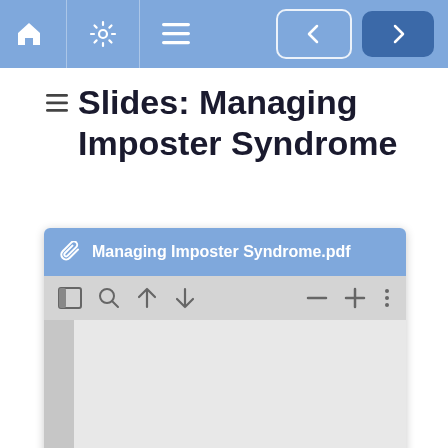Navigation bar with home, settings, menu icons and previous/next navigation buttons
Slides: Managing Imposter Syndrome
[Figure (screenshot): PDF viewer attachment card showing 'Managing Imposter Syndrome.pdf' with toolbar icons (sidebar, search, up, down, zoom out, zoom plus, more options) and a grey document preview area]